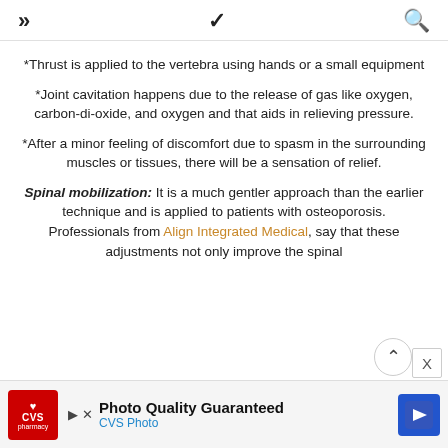» ∨ 🔍
*Thrust is applied to the vertebra using hands or a small equipment
*Joint cavitation happens due to the release of gas like oxygen, carbon-di-oxide, and oxygen and that aids in relieving pressure.
*After a minor feeling of discomfort due to spasm in the surrounding muscles or tissues, there will be a sensation of relief.
Spinal mobilization: It is a much gentler approach than the earlier technique and is applied to patients with osteoporosis. Professionals from Align Integrated Medical, say that these adjustments not only improve the spinal
[Figure (other): CVS Photo advertisement banner at the bottom of the page]